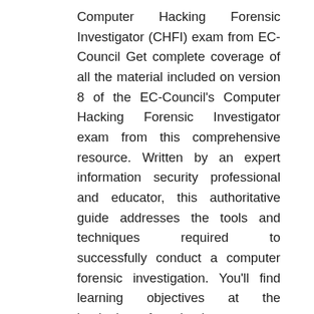Computer Hacking Forensic Investigator (CHFI) exam from EC-Council Get complete coverage of all the material included on version 8 of the EC-Council's Computer Hacking Forensic Investigator exam from this comprehensive resource. Written by an expert information security professional and educator, this authoritative guide addresses the tools and techniques required to successfully conduct a computer forensic investigation. You'll find learning objectives at the beginning of each chapter, exam tips, practice exam questions, and in-depth explanations. Designed to help you pass this challenging exam, this definitive volume also serves as an essential on-the-job reference. CHFI Computer Hacking Forensic Investigator Certification All-in-One Exam Guide